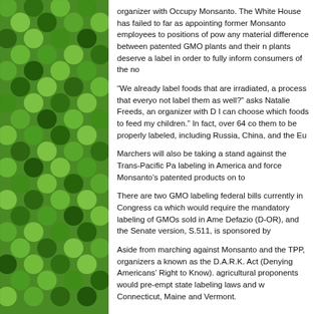[Figure (photo): Aerial mosaic photo of green circular crop fields and patterns viewed from above, forming a decorative left border column.]
organizer with Occupy Monsanto. The White House has failed to far as appointing former Monsanto employees to positions of pow any material difference between patented GMO plants and their n plants deserve a label in order to fully inform consumers of the no
“We already label foods that are irradiated, a process that everyo not label them as well?” asks Natalie Freeds, an organizer with D I can choose which foods to feed my children.” In fact, over 64 co them to be properly labeled, including Russia, China, and the Eu
Marchers will also be taking a stand against the Trans-Pacific Pa labeling in America and force Monsanto’s patented products on to
There are two GMO labeling federal bills currently in Congress ca which would require the mandatory labeling of GMOs sold in Ame Defazio (D-OR), and the Senate version, S.511, is sponsored by
Aside from marching against Monsanto and the TPP, organizers a known as the D.A.R.K. Act (Denying Americans’ Right to Know). agricultural proponents would pre-empt state labeling laws and w Connecticut, Maine and Vermont.